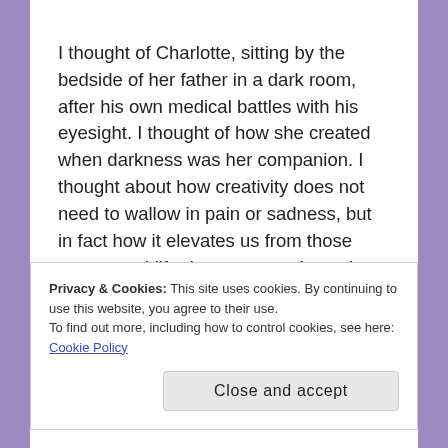I thought of Charlotte, sitting by the bedside of her father in a dark room, after his own medical battles with his eyesight. I thought of how she created when darkness was her companion. I thought about how creativity does not need to wallow in pain or sadness, but in fact how it elevates us from those moments. I lifted my eyes and caught sight of something twinkling in the people around me. For as the world was plunged into darkness, there was a burst of stars that set the sky ablaze. I quickly
Privacy & Cookies: This site uses cookies. By continuing to use this website, you agree to their use.
To find out more, including how to control cookies, see here: Cookie Policy
Close and accept